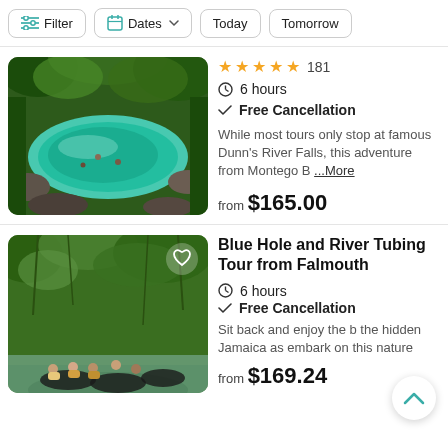Filter | Dates | Today | Tomorrow
[Figure (photo): Aerial view of a turquoise natural pool surrounded by green jungle and rocks, with people swimming]
★★★★★ 181
⏱ 6 hours
✓ Free Cancellation
While most tours only stop at famous Dunn's River Falls, this adventure from Montego B ...More
from $165.00
[Figure (photo): People sitting on river tubes floating on calm water surrounded by lush jungle vegetation]
Blue Hole and River Tubing Tour from Falmouth
⏱ 6 hours
✓ Free Cancellation
Sit back and enjoy the b the hidden Jamaica as embark on this nature
from $169.24